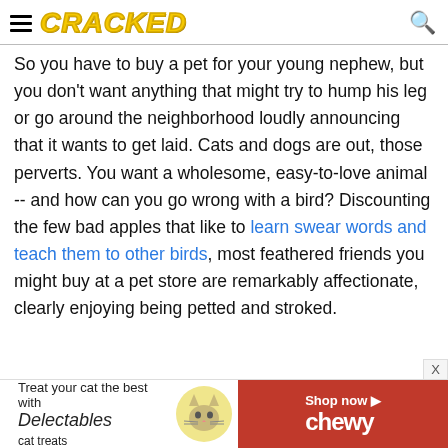CRACKED
So you have to buy a pet for your young nephew, but you don't want anything that might try to hump his leg or go around the neighborhood loudly announcing that it wants to get laid. Cats and dogs are out, those perverts. You want a wholesome, easy-to-love animal -- and how can you go wrong with a bird? Discounting the few bad apples that like to learn swear words and teach them to other birds, most feathered friends you might buy at a pet store are remarkably affectionate, clearly enjoying being petted and stroked.
[Figure (infographic): Advertisement banner: Treat your cat the best with Delectables cat treats. Shop now at Chewy. Features a cat image and red Chewy branding.]